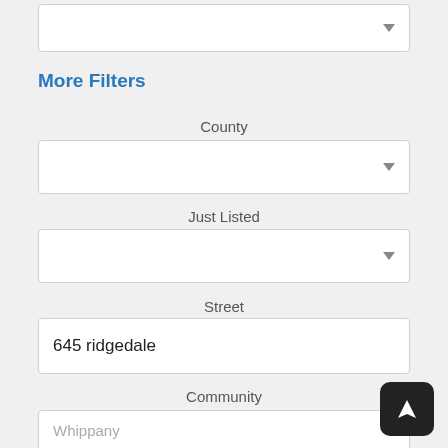[Figure (screenshot): Partial dropdown box at top of page (clipped from above)]
More Filters
County
[Figure (screenshot): County dropdown selector (empty)]
Just Listed
[Figure (screenshot): Just Listed dropdown selector (empty)]
Street
[Figure (screenshot): Street input field containing text: 645 ridgedale]
Community
[Figure (screenshot): Community input field containing placeholder text: Whippany]
[Figure (screenshot): Navigation/location button (dark rounded square with arrow icon) in bottom right]